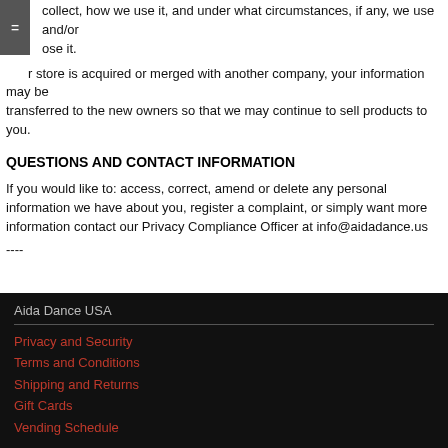collect, how we use it, and under what circumstances, if any, we use and/or disclose it.
If our store is acquired or merged with another company, your information may be transferred to the new owners so that we may continue to sell products to you.
QUESTIONS AND CONTACT INFORMATION
If you would like to: access, correct, amend or delete any personal information we have about you, register a complaint, or simply want more information contact our Privacy Compliance Officer at info@aidadance.us
----
Aida Dance USA
Privacy and Security
Terms and Conditions
Shipping and Returns
Gift Cards
Vending Schedule